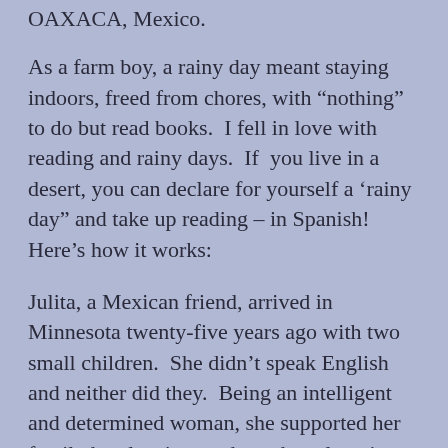OAXACA, Mexico.
As a farm boy, a rainy day meant staying indoors, freed from chores, with “nothing” to do but read books.  I fell in love with reading and rainy days.  If  you live in a desert, you can declare for yourself a ‘rainy day” and take up reading – in Spanish!  Here’s how it works:
Julita, a Mexican friend, arrived in Minnesota twenty-five years ago with two small children.  She didn’t speak English and neither did they.  Being an intelligent and determined woman, she supported her family by cleaning, and set about learning English on her own.   Her children are now adults and native speakers in both languages, and she talks as readily in one